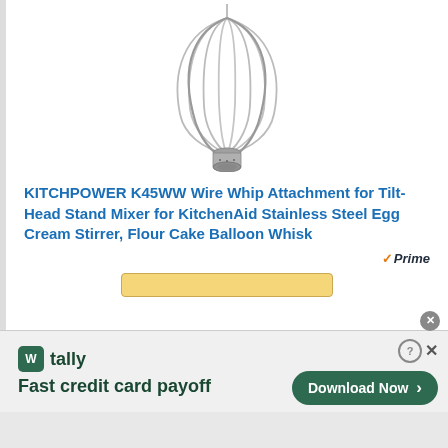[Figure (photo): A stainless steel wire whip / balloon whisk attachment for a KitchenAid stand mixer. The whisk has multiple wires fanning out in an oval balloon shape, converging at a metal base/collar at the bottom.]
KITCHPOWER K45WW Wire Whip Attachment for Tilt-Head Stand Mixer for KitchenAid Stainless Steel Egg Cream Stirrer, Flour Cake Balloon Whisk
[Figure (logo): Amazon Prime logo — orange checkmark followed by 'Prime' in dark text in italic style]
[Figure (screenshot): Yellow/gold buy button (bottom partially cut off)]
W tally Fast credit card payoff
Download Now →